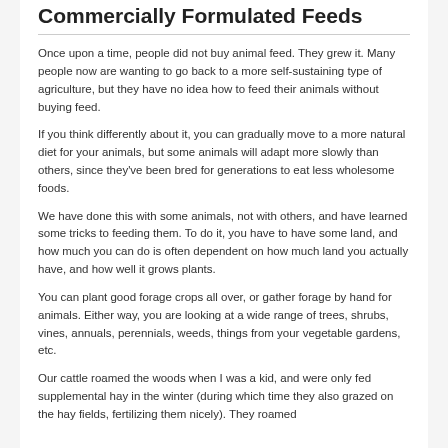Commercially Formulated Feeds
Once upon a time, people did not buy animal feed. They grew it. Many people now are wanting to go back to a more self-sustaining type of agriculture, but they have no idea how to feed their animals without buying feed.
If you think differently about it, you can gradually move to a more natural diet for your animals, but some animals will adapt more slowly than others, since they've been bred for generations to eat less wholesome foods.
We have done this with some animals, not with others, and have learned some tricks to feeding them. To do it, you have to have some land, and how much you can do is often dependent on how much land you actually have, and how well it grows plants.
You can plant good forage crops all over, or gather forage by hand for animals. Either way, you are looking at a wide range of trees, shrubs, vines, annuals, perennials, weeds, things from your vegetable gardens, etc.
Our cattle roamed the woods when I was a kid, and were only fed supplemental hay in the winter (during which time they also grazed on the hay fields, fertilizing them nicely). They roamed